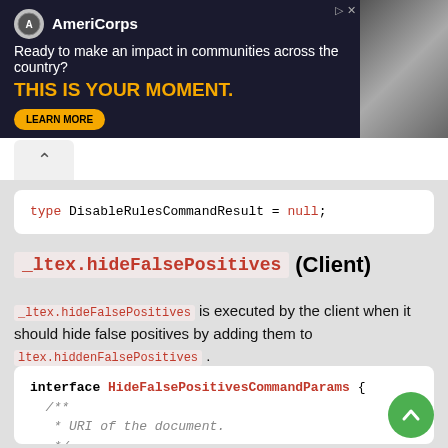[Figure (illustration): AmeriCorps advertisement banner with dark background, logo, tagline 'Ready to make an impact in communities across the country?', 'THIS IS YOUR MOMENT.' CTA, and a photo of people in background]
type DisableRulesCommandResult = null;
_ltex.hideFalsePositives (Client)
_ltex.hideFalsePositives is executed by the client when it should hide false positives by adding them to ltex.hiddenFalsePositives .
interface HideFalsePositivesCommandParams { /** * URI of the document. */ uri: string; /**